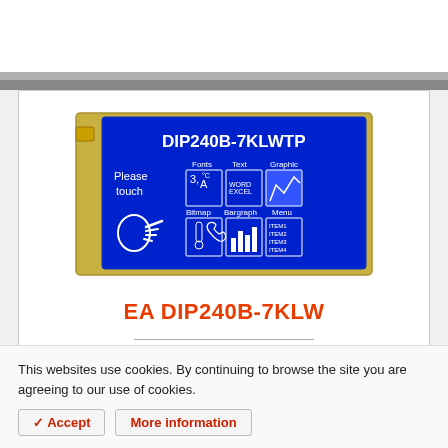[Figure (photo): EA DIP240B-7KLWTP LCD module with blue backlight display showing 'DIP240B-7KLWTP' text, touch interface icons for Fonts, Text, Graphic, Bitmap, Bargraph, Menu, and a pointing hand with 'Please touch' text]
EA DIP240B-7KLW
This websites use cookies. By continuing to browse the site you are agreeing to our use of cookies.
✓ Accept
More information